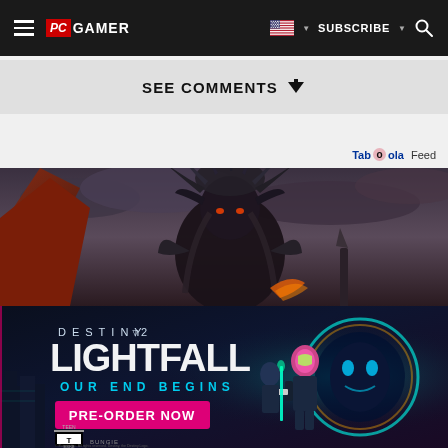PC GAMER — Navigation bar with hamburger menu, logo, flag, SUBSCRIBE, and search icon
SEE COMMENTS ↓
Taboola Feed
[Figure (illustration): Dark fantasy game character — a warrior with feathered headdress and horns, in dark armour, dramatic cloudy sky background]
[Figure (illustration): Destiny 2 Lightfall advertisement — 'DESTINY 2 LIGHTFALL / OUR END BEGINS / PRE-ORDER NOW' with game characters and ESRB Teen rating, Bungie logo]